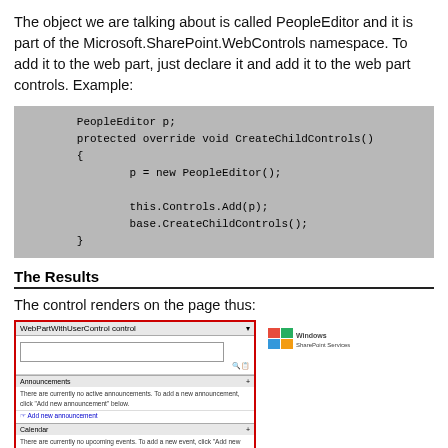The object we are talking about is called PeopleEditor and it is part of the Microsoft.SharePoint.WebControls namespace. To add it to the web part, just declare it and add it to the web part controls. Example:
The Results
The control renders on the page thus:
[Figure (screenshot): Screenshot of a SharePoint page showing a WebPartWithUserControl web part with a PeopleEditor input field (red border), Announcements section, and Calendar section on the left, and the Windows SharePoint Services logo on the right.]